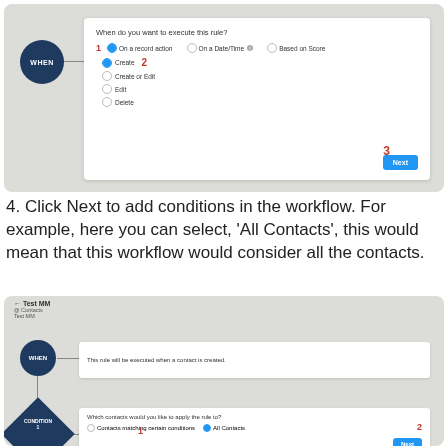[Figure (screenshot): UI screenshot showing a workflow WHEN rule configuration panel. The panel has radio options: 'On a record action' (selected, labeled 1), 'On a Date/Time', 'Based on Score'. Sub-options show: 'Create' (selected, labeled 2), 'Create or Edit', 'Edit', 'Delete'. A 'Next' button is labeled 3.]
4. Click Next to add conditions in the workflow. For example, here you can select, 'All Contacts', this would mean that this workflow would consider all the contacts.
[Figure (screenshot): UI screenshot showing a workflow builder with WHEN node (showing 'This rule will be executed when a contact is created.') and CONDITION node below. The condition panel asks 'Which contacts would you like to apply the rule to?' with options 'Contacts matching certain conditions' and 'All Contacts' (selected, labeled 1). A 'Next' button is labeled 2.]